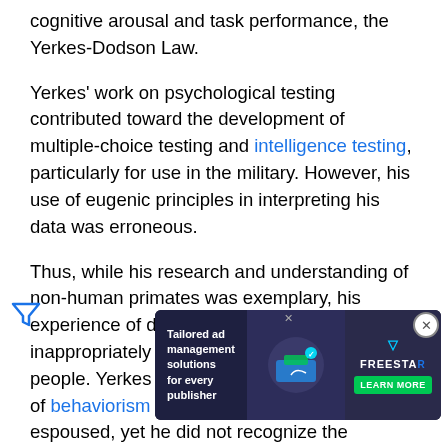cognitive arousal and task performance, the Yerkes-Dodson Law.
Yerkes' work on psychological testing contributed toward the development of multiple-choice testing and intelligence testing, particularly for use in the military. However, his use of eugenic principles in interpreting his data was erroneous.
Thus, while his research and understanding of non-human primates was exemplary, his experience of differences between species was inappropriately applied to different groups of people. Yerkes did not accept the narrow view of behaviorism his colleague John B. Watson espoused, yet he did not recognize the significant differences between human beings and other creatures.
[Figure (screenshot): Advertisement banner for Freestar: Tailored ad management solutions for every publisher, with Learn More button]
Bibliography
Yerkes, Robert M. 1903. Reactions of Daphnia